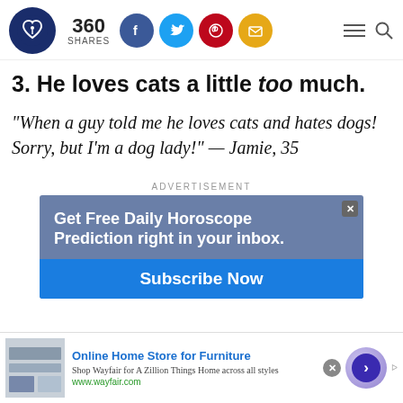360 SHARES
3. He loves cats a little too much.
"When a guy told me he loves cats and hates dogs! Sorry, but I'm a dog lady!" — Jamie, 35
ADVERTISEMENT
[Figure (screenshot): Advertisement banner: Get Free Daily Horoscope Prediction right in your inbox. Subscribe Now]
[Figure (screenshot): Bottom ad bar: Online Home Store for Furniture - Shop Wayfair for A Zillion Things Home across all styles - www.wayfair.com]